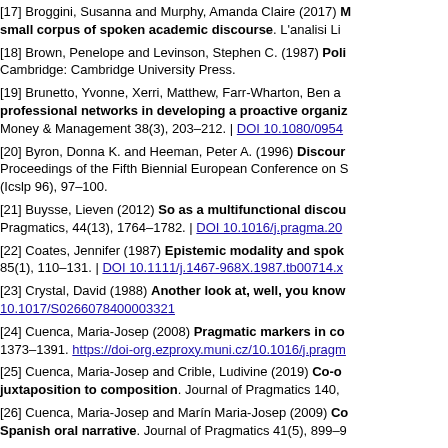[17] Broggini, Susanna and Murphy, Amanda Claire (2017) Multimodal… small corpus of spoken academic discourse. L'analisi Li…
[18] Brown, Penelope and Levinson, Stephen C. (1987) Poli… Cambridge: Cambridge University Press.
[19] Brunetto, Yvonne, Xerri, Matthew, Farr-Wharton, Ben a… professional networks in developing a proactive organiz… Money & Management 38(3), 203–212. | DOI 10.1080/0954…
[20] Byron, Donna K. and Heeman, Peter A. (1996) Discour… Proceedings of the Fifth Biennial European Conference on S… (Icslp 96), 97–100.
[21] Buysse, Lieven (2012) So as a multifunctional discou… Pragmatics, 44(13), 1764–1782. | DOI 10.1016/j.pragma.201…
[22] Coates, Jennifer (1987) Epistemic modality and spok… 85(1), 110–131. | DOI 10.1111/j.1467-968X.1987.tb00714.x…
[23] Crystal, David (1988) Another look at, well, you know… 10.1017/S0266078400003321
[24] Cuenca, Maria-Josep (2008) Pragmatic markers in co… 1373–1391. https://doi-org.ezproxy.muni.cz/10.1016/j.pragm…
[25] Cuenca, Maria-Josep and Crible, Ludivine (2019) Co-o… juxtaposition to composition. Journal of Pragmatics 140, …
[26] Cuenca, Maria-Josep and Marín Maria-Josep (2009) Co… Spanish oral narrative. Journal of Pragmatics 41(5), 899–9…
[27] Dehé, Nicole (2014) Parentheticals in Spoken English… Cambridge University Press.
[28] Deppermann, Arnuff, Schmitt, Reinhold and Mondada, L… and planned activities in a meeting. Journal of Pragmatics… org.ezproxy.muni.cz/10.1016/j.pragma.2009.10.006 | DOI 10…
[29] Di Ferrante, Laura (2013) Small talk at work: A corpu…